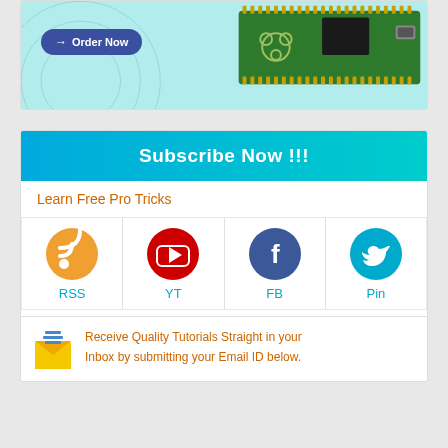[Figure (photo): Raspberry Pi Pico microcontroller board on a light blue background with an 'Order Now' button]
Subscribe Now !!!
Learn Free Pro Tricks
[Figure (infographic): Social media icons row: RSS (orange circle), YT (red YouTube circle), FB (dark blue Facebook circle), Pin (teal Twitter/Pinterest circle) with labels below each]
Receive Quality Tutorials Straight in your Inbox by submitting your Email ID below.